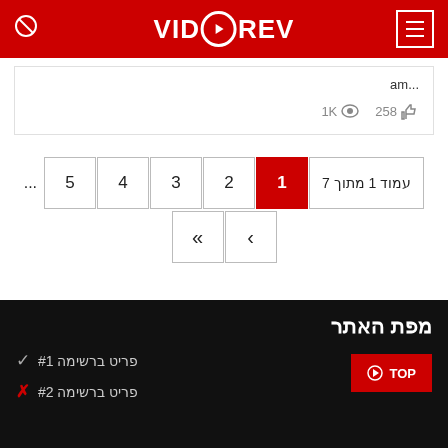VIDOREV
...am
258 👍  1K 👁
עמוד 1 מתוך 7  1  2  3  4  5  ...
מפת האתר
✓ פריט ברשימה #1
✗ פריט ברשימה #2